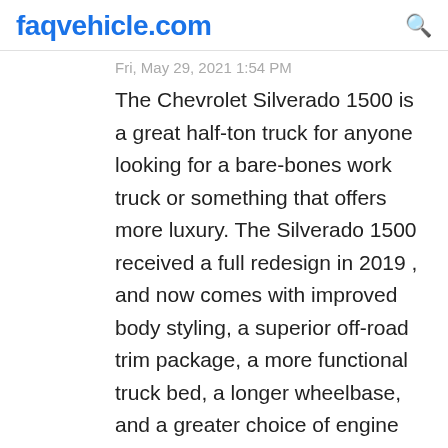faqvehicle.com
Fri, May 29, 2021 1:54 PM
The Chevrolet Silverado 1500 is a great half-ton truck for anyone looking for a bare-bones work truck or something that offers more luxury. The Silverado 1500 received a full redesign in 2019 , and now comes with improved body styling, a superior off-road trim package, a more functional truck bed, a longer wheelbase, and a greater choice of engine and transmission combinations.
Answered by Destany Jerde on Sat, May 29, 2021 1:54 PM
Now that the 2016 Ford F-150 has solidified the success of its aluminum